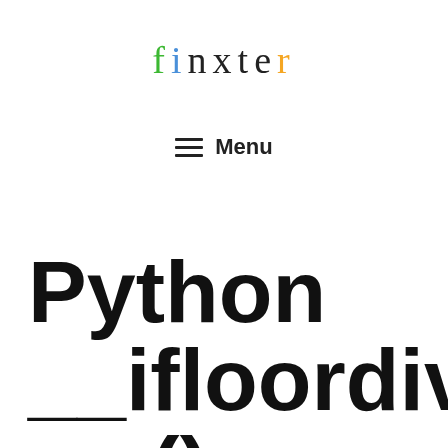finxter
≡ Menu
Python __ifloordiv__ () Magic